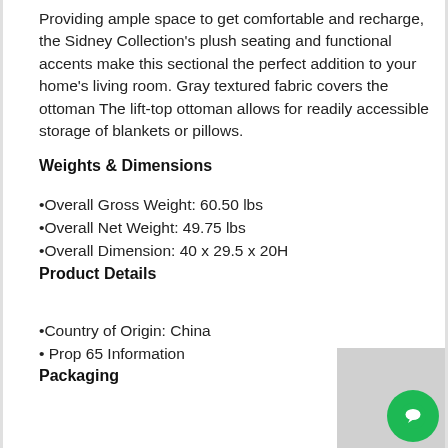Providing ample space to get comfortable and recharge, the Sidney Collection's plush seating and functional accents make this sectional the perfect addition to your home's living room. Gray textured fabric covers the ottoman The lift-top ottoman allows for readily accessible storage of blankets or pillows.
Weights & Dimensions
•Overall Gross Weight: 60.50 lbs
•Overall Net Weight: 49.75 lbs
•Overall Dimension: 40 x 29.5 x 20H
Product Details
•Country of Origin: China
• Prop 65 Information
Packaging